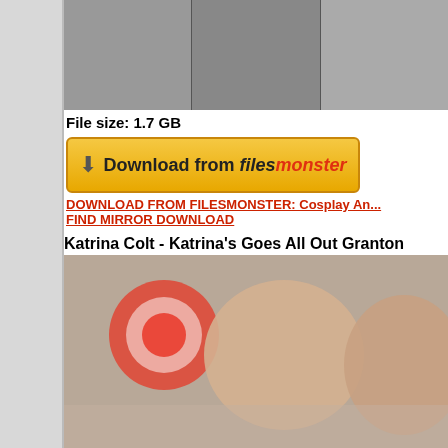[Figure (photo): Three thumbnail images of video content in a row]
File size: 1.7 GB
[Figure (other): Download from FilesMonster button with orange/gold background]
DOWNLOAD FROM FILESMONSTER: Cosplay An...
FIND MIRROR DOWNLOAD
Katrina Colt - Katrina's Goes All Out Granton
[Figure (photo): Main video thumbnail image]
Cast: Katrina Colt
Genres: Exclusive, Ass, Anal, Gape, Gaping, Brune... Pussy, Swallo
Video language: English